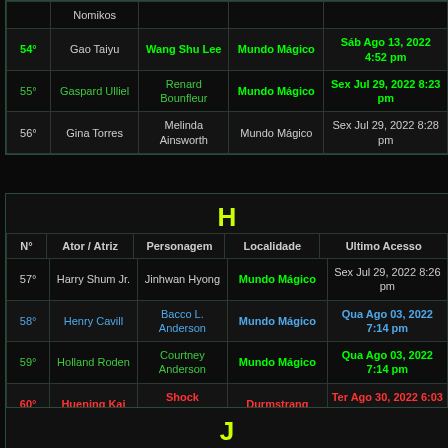| N° | Ator / Atriz | Personagem | Localidade | Ultimo Acesso |
| --- | --- | --- | --- | --- |
|  | Nomikos |  |  |  |
| 54° | Gao Taiyu | Wang Shu Lee | Mundo Mágico | Sáb Ago 13, 2022 4:52 pm |
| 55° | Gaspard Ulliel | Renard Bounfleur | Mundo Mágico | Sex Jul 29, 2022 8:23 pm |
| 56° | Gina Torres | Melinda Ainsworth | Mundo Mágico | Sex Jul 29, 2022 8:28 pm |
H
| N° | Ator / Atriz | Personagem | Localidade | Ultimo Acesso |
| --- | --- | --- | --- | --- |
| 57° | Harry Shum Jr. | Jinhwan Hyong | Mundo Mágico | Sex Jul 29, 2022 8:26 pm |
| 58° | Henry Cavill | Bacco L. Anderson | Mundo Mágico | Qua Ago 03, 2022 7:14 pm |
| 59° | Holland Roden | Courtney Anderson | Mundo Mágico | Qua Ago 03, 2022 7:14 pm |
| 60° | Huening Kai | Shock Aishwarya | Durmstrang | Ter Ago 30, 2022 6:03 pm |
J